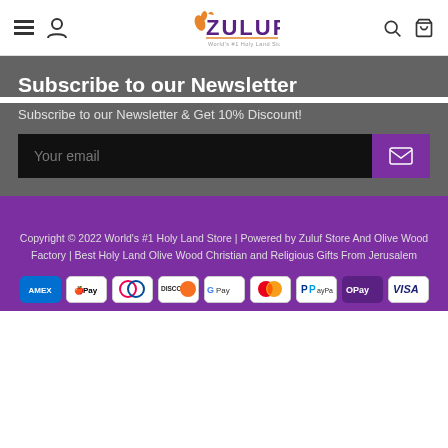Zuluf - World's #1 Holy Land Store - navigation header with menu, user, search, and cart icons
Subscribe to our Newsletter
Subscribe to our Newsletter & Get 10% Discount!
Your email
Copyright © 2022 World's #1 Holy Land Store | Powered by Zuluf Store And Olive Wood Factory | Best Holy Land Olive Wood Christian and Religious Gifts From Jerusalem
[Figure (other): Payment method badges: AMEX, Apple Pay, Diners Club, Discover, Google Pay, Mastercard, PayPal, Samsung Pay, Visa]